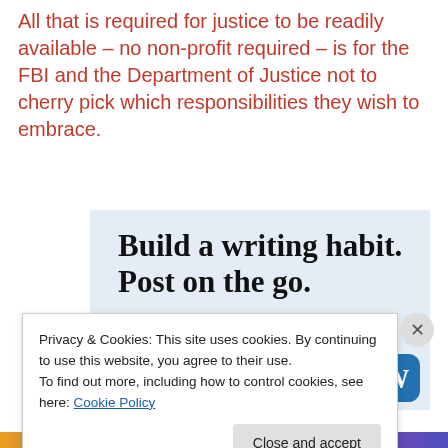All that is required for justice to be readily available – no non-profit required – is for the FBI and the Department of Justice not to cherry pick which responsibilities they wish to embrace.
[Figure (screenshot): WordPress app advertisement banner. Shows text 'Build a writing habit. Post on the go.' with 'GET THE APP' link and WordPress circular logo icon on a light blue background.]
Privacy & Cookies: This site uses cookies. By continuing to use this website, you agree to their use.
To find out more, including how to control cookies, see here: Cookie Policy